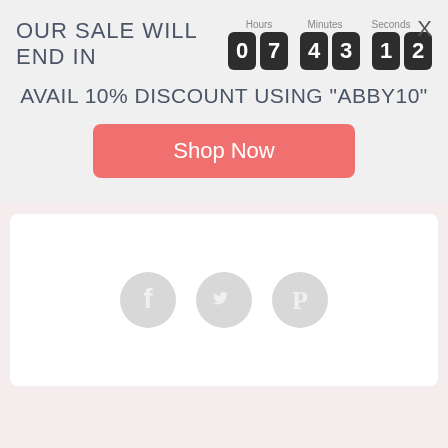OUR SALE WILL END IN  07 43 12
AVAIL 10% DISCOUNT USING "ABBY10"
Shop Now
[Figure (infographic): Three social media icons (Facebook, Twitter, Pinterest) displayed as light gray circles on a white card]
Related products